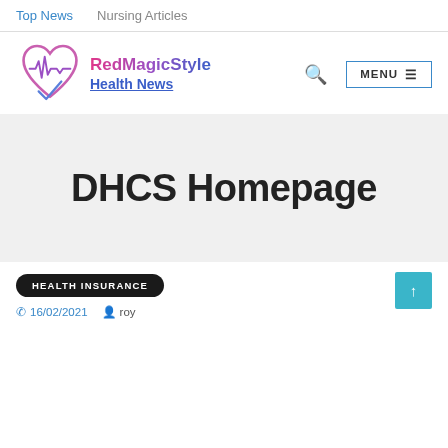Top News   Nursing Articles
[Figure (logo): RedMagicStyle Health News logo with heart and ECG waveform icon]
DHCS Homepage
HEALTH INSURANCE
16/02/2021   roy